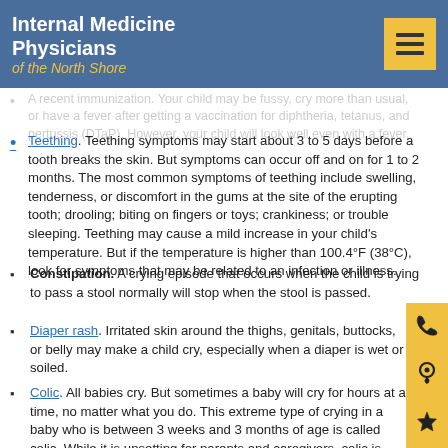Internal Medicine Physicians of the North Shore
Teething. Teething symptoms may start about 3 to 5 days before a tooth breaks the skin. But symptoms can occur off and on for 1 to 2 months. The most common symptoms of teething include swelling, tenderness, or discomfort in the gums at the site of the erupting tooth; drooling; biting on fingers or toys; crankiness; or trouble sleeping. Teething may cause a mild increase in your child's temperature. But if the temperature is higher than 100.4°F (38°C), look for symptoms that may be related to an infection or illness.
Constipation. A crying episode that occurs when the child is trying to pass a stool normally will stop when the stool is passed.
Diaper rash. Irritated skin around the thighs, genitals, buttocks, or belly may make a child cry, especially when a diaper is wet or soiled.
Colic. All babies cry. But sometimes a baby will cry for hours at a time, no matter what you do. This extreme type of crying in a baby who is between 3 weeks and 3 months of age is called colic. While it is upsetting for parents and caregivers, colic is normal for babies.